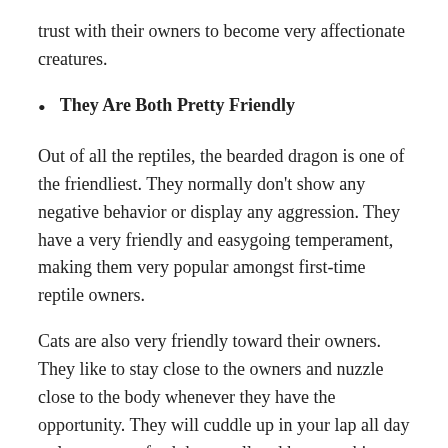trust with their owners to become very affectionate creatures.
They Are Both Pretty Friendly
Out of all the reptiles, the bearded dragon is one of the friendliest. They normally don't show any negative behavior or display any aggression. They have a very friendly and easygoing temperament, making them very popular amongst first-time reptile owners.
Cats are also very friendly toward their owners. They like to stay close to the owners and nuzzle close to the body whenever they have the opportunity. They will cuddle up in your lap all day as long as you feed them well and keep stroking them.